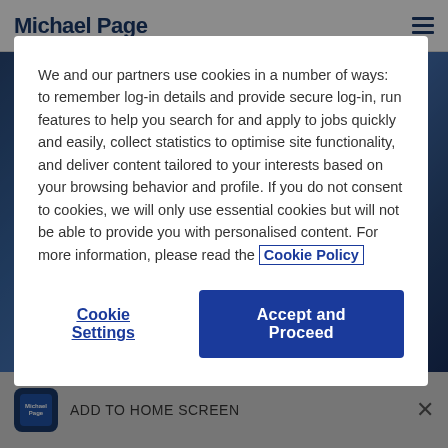[Figure (screenshot): Michael Page website header with logo and hamburger menu icon]
[Figure (photo): Blue glass office building hero image background]
We and our partners use cookies in a number of ways: to remember log-in details and provide secure log-in, run features to help you search for and apply to jobs quickly and easily, collect statistics to optimise site functionality, and deliver content tailored to your interests based on your browsing behavior and profile. If you do not consent to cookies, we will only use essential cookies but will not be able to provide you with personalised content. For more information, please read the Cookie Policy
Cookie Settings
Accept and Proceed
ADD TO HOME SCREEN